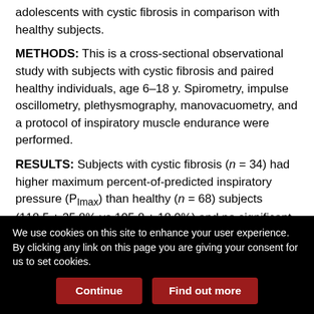adolescents with cystic fibrosis in comparison with healthy subjects.
METHODS: This is a cross-sectional observational study with subjects with cystic fibrosis and paired healthy individuals, age 6–18 y. Spirometry, impulse oscillometry, plethysmography, manovacuometry, and a protocol of inspiratory muscle endurance were performed.
RESULTS: Subjects with cystic fibrosis (n = 34) had higher maximum percent-of-predicted inspiratory pressure (PImax) than healthy (n = 68) subjects (118.5 ± 25.8% vs 105.8 ± 18.0%) and no significant difference in endurance (60.9 ± 13.3% vs 65.3 ± 12.3%). When restricting the analysis to subjects without Pseudomonas aeruginosa colonization and with FEV1 ≥ 80%, P revealed...
We use cookies on this site to enhance your user experience. By clicking any link on this page you are giving your consent for us to set cookies.